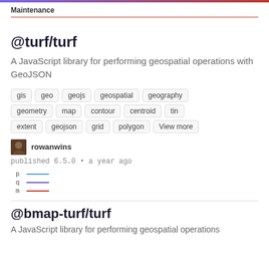Maintenance
@turf/turf
A JavaScript library for performing geospatial operations with GeoJSON
gis
geo
geojs
geospatial
geography
geometry
map
contour
centroid
tin
extent
geojson
grid
polygon
View more
rowanwins
published 6.5.0 • a year ago
[Figure (other): Legend with three colored lines labeled p (blue), q (purple), m (red)]
@bmap-turf/turf
A JavaScript library for performing geospatial operations